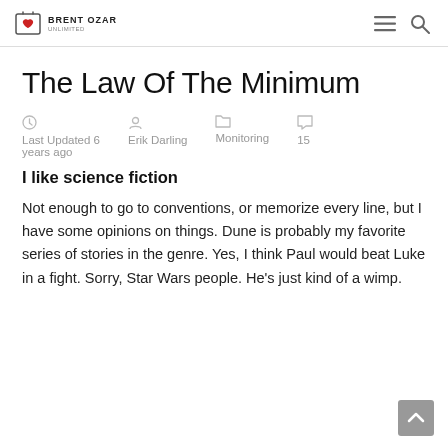BRENT OZAR UNLIMITED
The Law Of The Minimum
Last Updated 6 years ago  Erik Darling  Monitoring  15
I like science fiction
Not enough to go to conventions, or memorize every line, but I have some opinions on things. Dune is probably my favorite series of stories in the genre. Yes, I think Paul would beat Luke in a fight. Sorry, Star Wars people. He's just kind of a wimp.